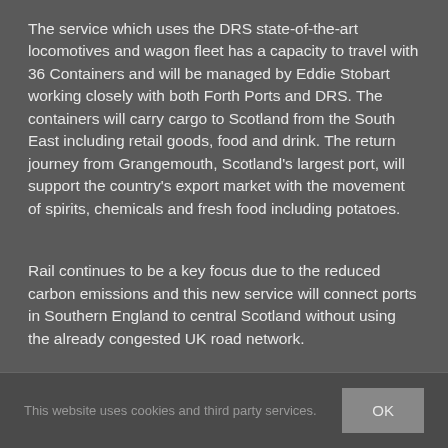The service which uses the DRS state-of-the-art locomotives and wagon fleet has a capacity to travel with 36 Containers and will be managed by Eddie Stobart working closely with both Forth Ports and DRS. The containers will carry cargo to Scotland from the South East including retail goods, food and drink. The return journey from Grangemouth, Scotland's largest port, will support the country's export market with the movement of spirits, chemicals and fresh food including potatoes.
Rail continues to be a key focus due to the reduced carbon emissions and this new service will connect ports in Southern England to central Scotland without using the already congested UK road network.
This website uses cookies and third party services.